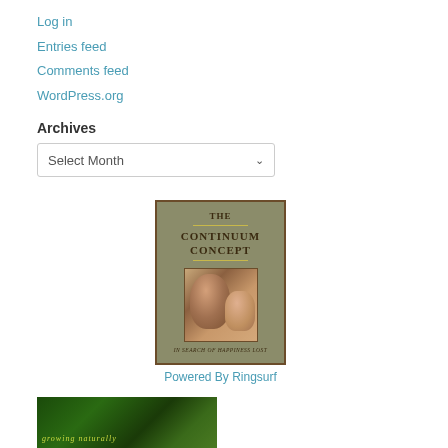Log in
Entries feed
Comments feed
WordPress.org
Archives
Select Month
[Figure (illustration): Book cover of 'The Continuum Concept: In Search of Happiness Lost' with olive/tan background and central photo of mother and child]
Powered By Ringsurf
[Figure (photo): Green foliage background image with yellow text, partially visible at bottom of page]